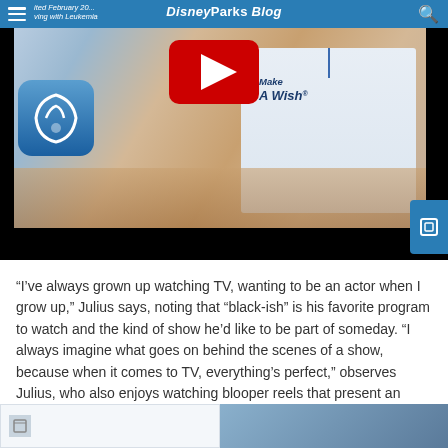Disney Parks Blog — ited February 20... ving with Leukemia
[Figure (screenshot): Video thumbnail showing a Make-A-Wish volunteer in white shirt with YouTube play button overlay, and Disney app icon on left. Black bar at the bottom of the video frame.]
“I’ve always grown up watching TV, wanting to be an actor when I grow up,” Julius says, noting that “black-ish” is his favorite program to watch and the kind of show he’d like to be part of someday. “I always imagine what goes on behind the scenes of a show, because when it comes to TV, everything’s perfect,” observes Julius, who also enjoys watching blooper reels that present an opportunity to discover some of the less-than-perfect moments that don’t end up on the air.
[Figure (screenshot): Two bottom thumbnail images: a light-colored article thumbnail on the left with a small icon, and a photo thumbnail on the right.]